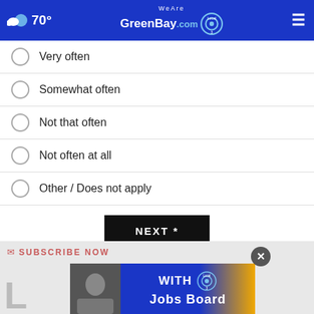WeAreGreenBay.com | 70°
Very often
Somewhat often
Not that often
Not often at all
Other / Does not apply
NEXT *
* By clicking "NEXT" you agree to the following: We use cookies to track your survey answers. If you would like to continue with this survey, please read and agree to the CivicScience Privacy Policy and Terms of Service
[Figure (screenshot): Subscribe Now promotional banner with CBS Local Jobs Board advertisement overlay and a close button]